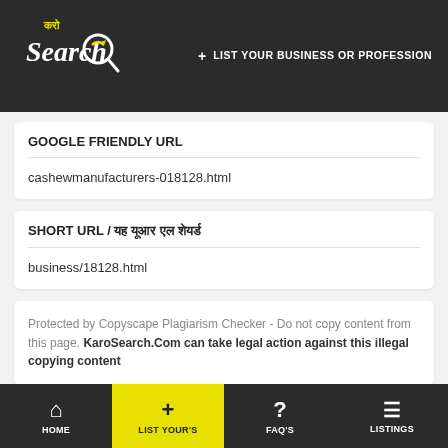KaroSearch logo + LIST YOUR BUSINESS OR PROFESSION
GOOGLE FRIENDLY URL
cashewmanufacturers-018128.html
SHORT URL / यह यूआर एल शेयर्ड
business/18128.html
Protected by Copyscape Plagiarism Checker - Do not copy content from this page. KaroSearch.Com can take legal action against this illegal copying content
HOME | LIST YOUR's | FAQ's | LISTINGS